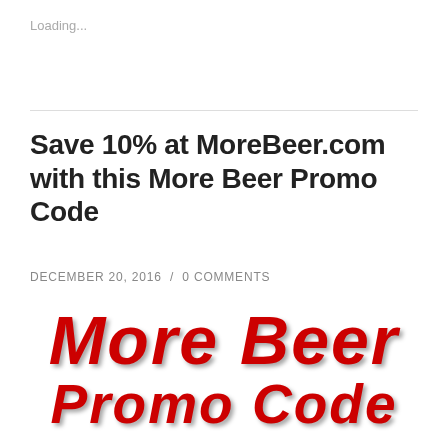Loading...
Save 10% at MoreBeer.com with this More Beer Promo Code
DECEMBER 20, 2016  /  0 COMMENTS
[Figure (illustration): More Beer Promo Code logo text in large bold red italic font with drop shadow, displayed on white background]